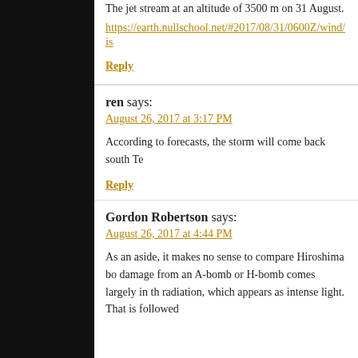The jet stream at an altitude of 3500 m on 31 August.
https://earth.nullschool.net/#2017/08/31/0600Z/wind/is
Reply
ren says:
August 26, 2017 at 3:17 PM
According to forecasts, the storm will come back south Te
Reply
Gordon Robertson says:
August 26, 2017 at 4:44 PM
As an aside, it makes no sense to compare Hiroshima bo damage from an A-bomb or H-bomb comes largely in th radiation, which appears as intense light. That is followed